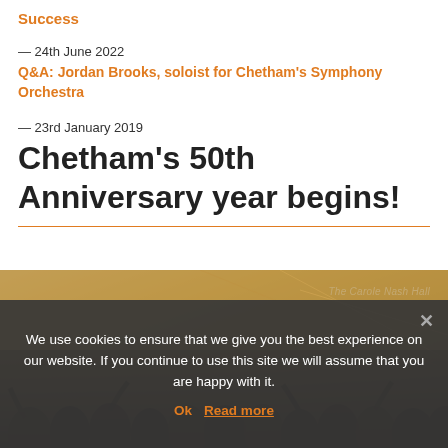Success
— 24th June 2022
Q&A: Jordan Brooks, soloist for Chetham's Symphony Orchestra
— 23rd January 2019
Chetham's 50th Anniversary year begins!
[Figure (photo): Photo of a large group of people in what appears to be The Carole Nash Hall, with a warm wooden interior. A crowd of people are visible, many waving or celebrating.]
We use cookies to ensure that we give you the best experience on our website. If you continue to use this site we will assume that you are happy with it.